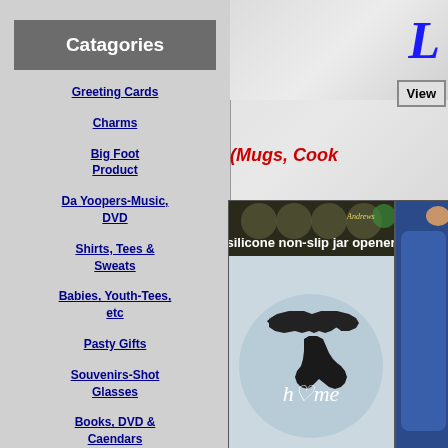Catagories
Greeting Cards
Charms
Big Foot Product
Da Yoopers-Music, DVD
Shirts, Tees & Sweats
Babies, Youth-Tees, etc
Pasty Gifts
Souvenirs-Shot Glasses
Books, DVD & Caendars
Let's Party
Food, Snacks, etc
Cribbage, Puzzles...
L
View
(Mugs, Cook
[Figure (photo): Silicone non-slip jar opener product featuring Michigan state shape silhouette with 'home' text on a blue-gray oval background, with dark background and decorative circles at top]
[Figure (photo): Partial view of a blue mug with a finger visible at the top edge]